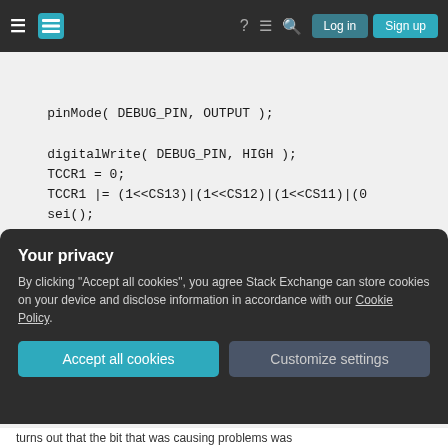Stack Exchange navigation bar with hamburger menu, logo, help, chat, search icons, Log in and Sign up buttons
[Figure (screenshot): Code snippet showing Arduino/C++ code with pinMode, digitalWrite, TCCR1 register setup, sei(), void loop(), and if(TCNT1 >=100) block with cli()]
Your privacy
By clicking "Accept all cookies", you agree Stack Exchange can store cookies on your device and disclose information in accordance with our Cookie Policy.
Accept all cookies  Customize settings
turns out that the bit that was causing problems was